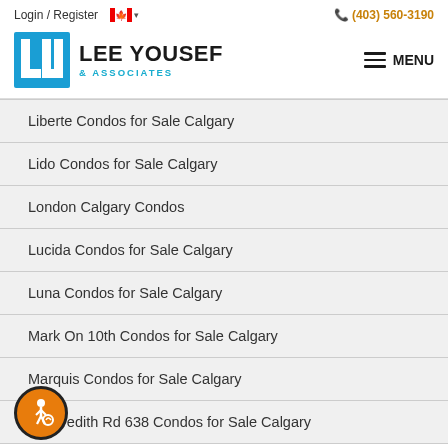Login / Register   🍁 ▾   (403) 560-3190
[Figure (logo): Lee Yousef & Associates real estate logo with stylized LY icon in blue]
Liberte Condos for Sale Calgary
Lido Condos for Sale Calgary
London Calgary Condos
Lucida Condos for Sale Calgary
Luna Condos for Sale Calgary
Mark On 10th Condos for Sale Calgary
Marquis Condos for Sale Calgary
redith Rd 638 Condos for Sale Calgary